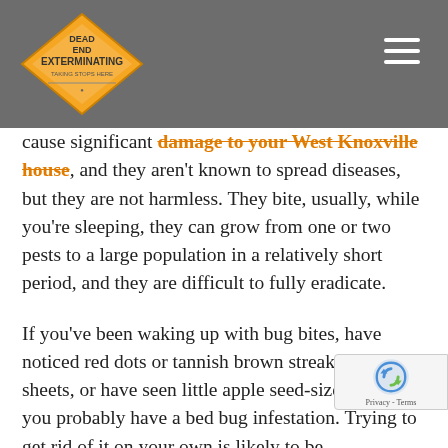Dead End Exterminating [logo] [hamburger menu]
cause significant damage to your West Knoxville house, and they aren't known to spread diseases, but they are not harmless. They bite, usually, while you're sleeping, they can grow from one or two pests to a large population in a relatively short period, and they are difficult to fully eradicate.
If you've been waking up with bug bites, have noticed red dots or tannish brown streaks on your sheets, or have seen little apple seed-sized bugs, you probably have a bed bug infestation. Trying to get rid of it on your own is likely to be unsuccessful because bed bugs are resistant to many treatments and are good at hiding for several months at a time. Inst